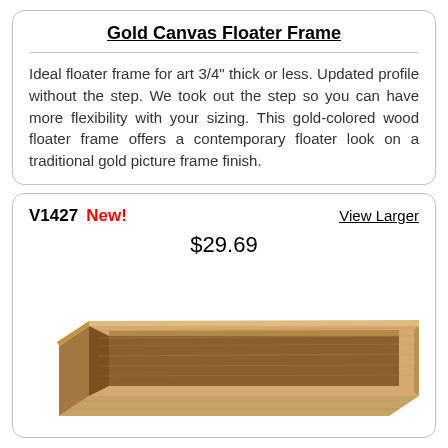Gold Canvas Floater Frame
Ideal floater frame for art 3/4" thick or less. Updated profile without the step. We took out the step so you can have more flexibility with your sizing. This gold-colored wood floater frame offers a contemporary floater look on a traditional gold picture frame finish.
V1427  New!    View Larger
$29.69
[Figure (photo): A wood canvas floater frame corner section shown as a 3D angled product shot, natural light wood grain finish.]